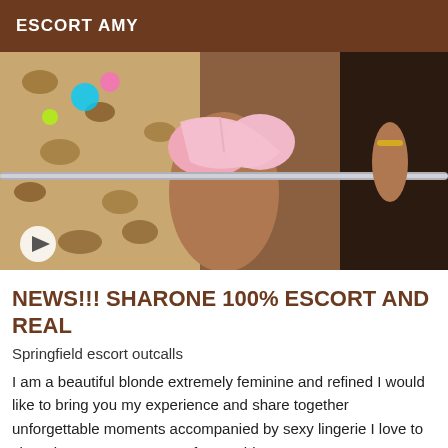ESCORT AMY
[Figure (photo): A person wearing a pink bikini top, kneeling on a surface with leopard print cushions and colorful items in the background. A metal railing is visible across the middle of the image.]
NEWS!!! SHARONE 100% ESCORT AND REAL
Springfield escort outcalls
I am a beautiful blonde extremely feminine and refined I would like to bring you my experience and share together unforgettable moments accompanied by sexy lingerie I love to share intense moments, unforgettable